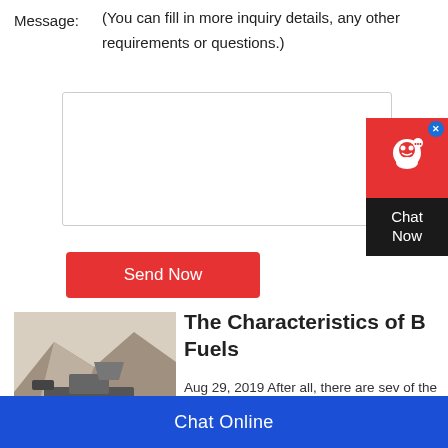Message:
(You can fill in more inquiry details, any other requirements or questions.)
Send Now
Chat Now
[Figure (photo): Mining equipment (crusher/excavator) at a quarry site with rocky hillside in background]
The Characteristics of B... Fuels
Aug 29, 2019 After all, there are sev... of the fossil fuel is known for that jus... like bituminous coal. Read on
Chat Online